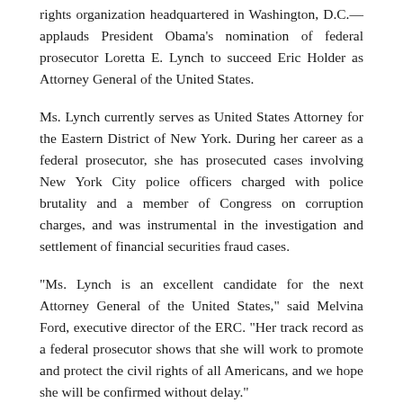rights organization headquartered in Washington, D.C.—applauds President Obama's nomination of federal prosecutor Loretta E. Lynch to succeed Eric Holder as Attorney General of the United States.
Ms. Lynch currently serves as United States Attorney for the Eastern District of New York. During her career as a federal prosecutor, she has prosecuted cases involving New York City police officers charged with police brutality and a member of Congress on corruption charges, and was instrumental in the investigation and settlement of financial securities fraud cases.
“Ms. Lynch is an excellent candidate for the next Attorney General of the United States,” said Melvina Ford, executive director of the ERC. “Her track record as a federal prosecutor shows that she will work to promote and protect the civil rights of all Americans, and we hope she will be confirmed without delay.”